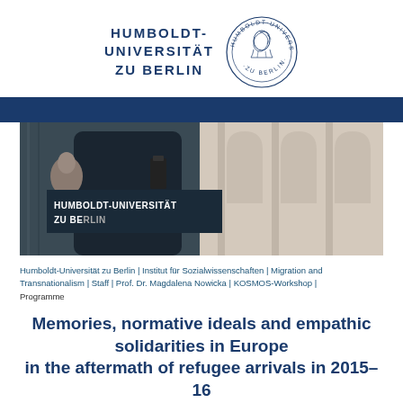[Figure (logo): Humboldt-Universität zu Berlin wordmark and circular seal logo]
[Figure (photo): Photograph of the Humboldt-Universität zu Berlin building exterior showing the sign 'HUMBOLDT-UNIVERSITÄT ZU BERLIN' on the facade]
Humboldt-Universität zu Berlin | Institut für Sozialwissenschaften | Migration and Transnationalism | Staff | Prof. Dr. Magdalena Nowicka | KOSMOS-Workshop | Programme
Memories, normative ideals and empathic solidarities in Europe in the aftermath of refugee arrivals in 2015–16